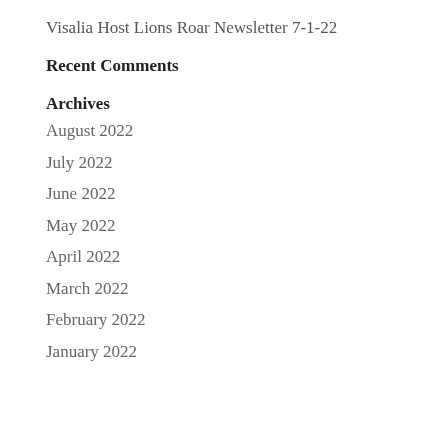Visalia Host Lions Roar Newsletter 7-1-22
Recent Comments
Archives
August 2022
July 2022
June 2022
May 2022
April 2022
March 2022
February 2022
January 2022